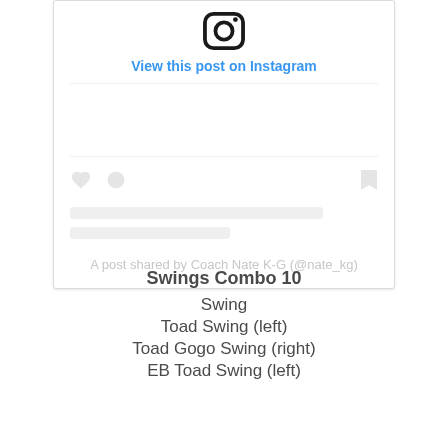[Figure (screenshot): Instagram embed card showing logo at top, 'View this post on Instagram' link in blue, a placeholder/loading state with heart and comment icons, skeleton loading bars, and attribution text 'A post shared by Coach Nate K-G (@nate_kg)']
Swings Combo 10
Swing
Toad Swing (left)
Toad Gogo Swing (right)
EB Toad Swing (left)